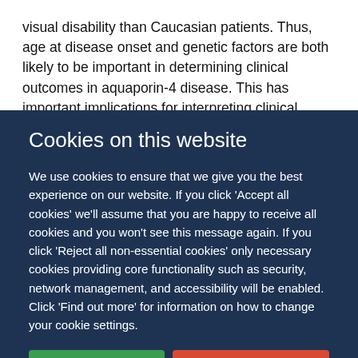visual disability than Caucasian patients. Thus, age at disease onset and genetic factors are both likely to be important in determining clinical outcomes in aquaporin-4 disease. This has important implications for interpreting clinical neuromyelitis optica and neuromyelitis optica spectrum disorder studies, since clinical features and outcomes appear not to be generic
Cookies on this website
We use cookies to ensure that we give you the best experience on our website. If you click 'Accept all cookies' we'll assume that you are happy to receive all cookies and you won't see this message again. If you click 'Reject all non-essential cookies' only necessary cookies providing core functionality such as security, network management, and accessibility will be enabled. Click 'Find out more' for information on how to change your cookie settings.
Accept all cookies
Reject all non-essential cookies